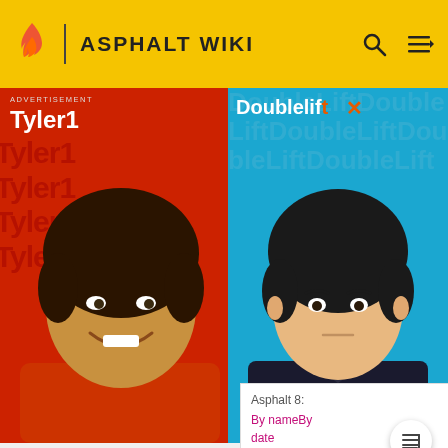ASPHALT WIKI
[Figure (screenshot): Advertisement banner showing Tyler1 vs Doublelift Grubhub Feeding Frenzy promotion. Left panel shows Tyler1 on red background, center panel shows Feeding Frenzy logo on black background with text 'TYLER1 VS DOUBLELIFT! TUNE IN TO THE GRUBHUB FEEDING FRENZY SEPTEMBER 11 @ 11AM EST', right panel shows Doublelift on blue background with Doublelift logo.]
Asphalt 8: Airborne ▶
By nameBy dateFestival
Asphalt 8: Airborne ▶
By nameBy date